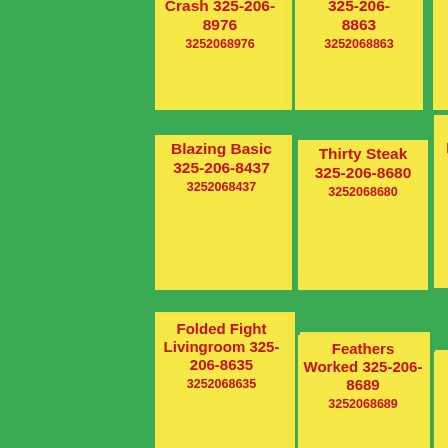Crash 325-206-8976 3252068976
325-206-8863 3252068863
325-206-8288 3252068288
Blazing Basic 325-206-8437 3252068437
Thirty Steak 325-206-8680 3252068680
Lemon Jigger More 325-206-8179 3252068179
Folded Fight Livingroom 325-206-8635 3252068635
Feathers Worked 325-206-8689 3252068689
Ccant Dining 325-206-8457 3252068457
Ripping Surrounded Egg 325-206-8384
Under Lose 325-206-8506
Gone 325-206-8488